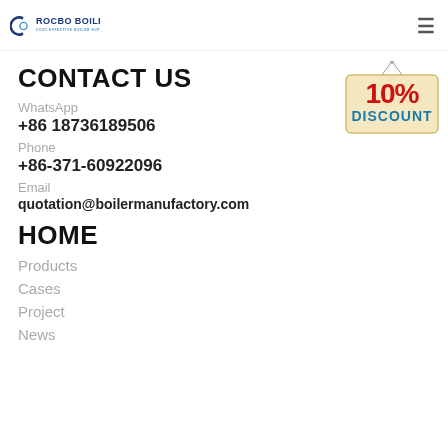ROCBO BOILER - COST-EFFECTIVE BOILER SUPPLIER
CONTACT US
WhatsApp
+86 18736189506
Phone
+86-371-60922096
Email
quotation@boilermanufactory.com
[Figure (illustration): 10% DISCOUNT sign hanging on a string, beige sign with red '10%' and blue 'DISCOUNT' text]
HOME
Products
Cases
Project
News